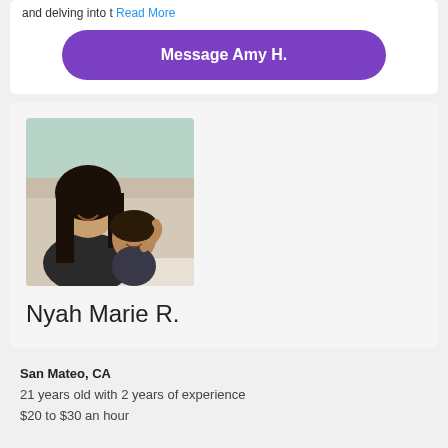and delving into t Read More
Message Amy H.
[Figure (photo): Profile photo of Nyah Marie R. showing a young woman with long dark hair smiling with a young child at what appears to be a restaurant or event venue]
Nyah Marie R.
San Mateo, CA
21 years old with 2 years of experience
$20 to $30 an hour